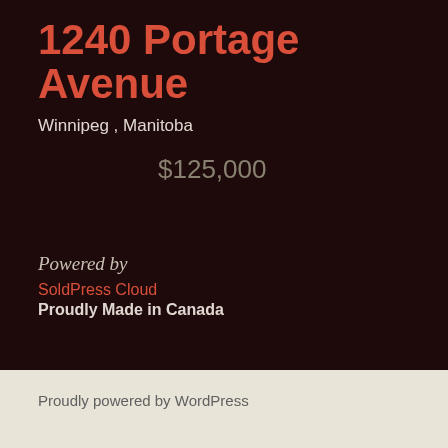1240 Portage Avenue
Winnipeg , Manitoba
$125,000
Powered by
SoldPress Cloud
Proudly Made in Canada
Proudly powered by WordPress